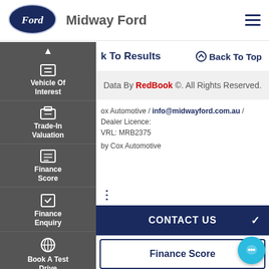[Figure (logo): Ford oval logo in dark blue with white Ford script, followed by dealer name Midway Ford and hamburger menu icon]
Midway Ford
Vehicle Of Interest
Trade-In Valuation
Finance Score
Finance Enquiry
Book A Test Drive
k To Results
Back To Top
Data By RedBook ©. All Rights Reserved.
ox Automotive / info@midwayford.com.au / Dealer Licence: VRL: MRB2375
by Cox Automotive
CONTACT US
Finance Score